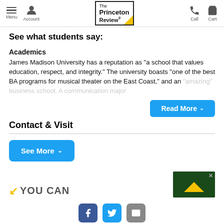The Princeton Review — Menu, Account, Call, Cart navigation bar
See what students say:
Academics
James Madison University has a reputation as "a school that values education, respect, and integrity." The university boasts "one of the best BA programs for musical theater on the East Coast," and an "amazing" business school. A communication major
Read More ˅
Contact & Visit
See More ˅
[Figure (logo): YOU CAN logo with yellow arrow and green advertisement box with close button]
Social icons: Facebook, Twitter, Email